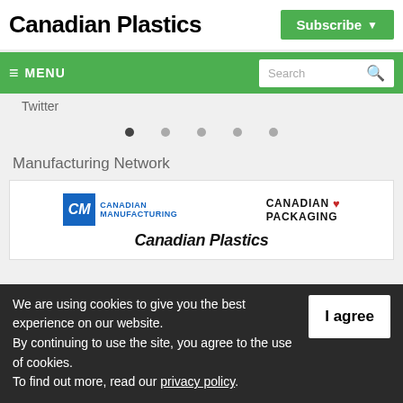Canadian Plastics
Subscribe
≡ MENU
Search
Twitter
Manufacturing Network
[Figure (logo): Canadian Manufacturing logo with blue CM icon]
[Figure (logo): Canadian Packaging logo with maple leaf]
Canadian Plastics
We are using cookies to give you the best experience on our website.
By continuing to use the site, you agree to the use of cookies.
To find out more, read our privacy policy.